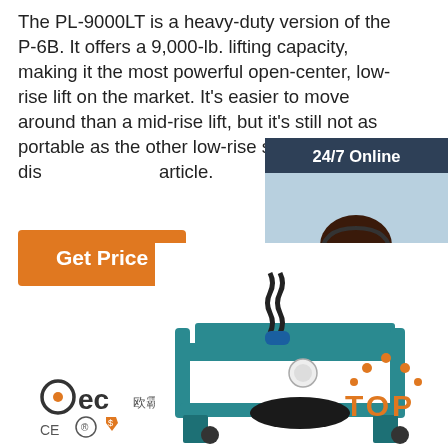The PL-9000LT is a heavy-duty version of the P-6B. It offers a 9,000-lb. lifting capacity, making it the most powerful open-center, low-rise lift on the market. It's easier to move around than a mid-rise lift, but it's still not as portable as the other low-rise scissor lifts dis... article.
[Figure (other): Orange 'Get Price' button]
[Figure (other): 24/7 Online customer service chat widget with woman wearing headset, 'Click here for free chat!' text and orange QUOTATION button]
[Figure (logo): BEC company logo with CE and certification badges]
[Figure (photo): Industrial automotive scissor lift machine in teal/blue color with spring and hydraulic components visible]
[Figure (other): Orange TOP navigation button with dot-arch icon]